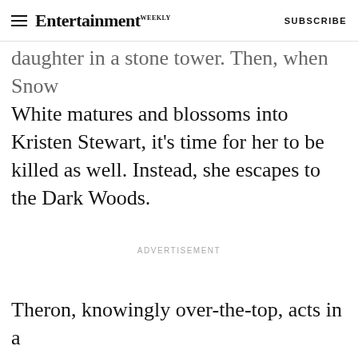Entertainment Weekly — SUBSCRIBE
daughter in a stone tower. Then, when Snow White matures and blossoms into Kristen Stewart, it's time for her to be killed as well. Instead, she escapes to the Dark Woods.
ADVERTISEMENT
Theron, knowingly over-the-top, acts in a